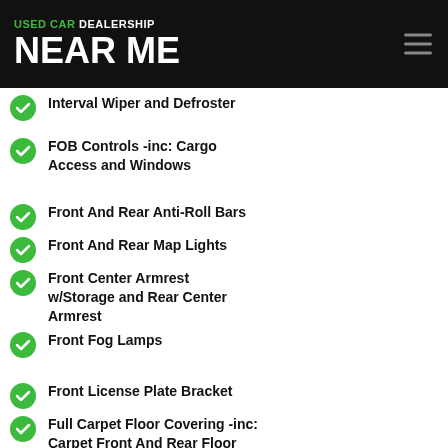USED CAR DEALERSHIP NEAR ME
Interval Wiper and Defroster
FOB Controls -inc: Cargo Access and Windows
Front And Rear Anti-Roll Bars
Front And Rear Map Lights
Front Center Armrest w/Storage and Rear Center Armrest
Front Fog Lamps
Front License Plate Bracket
Full Carpet Floor Covering -inc: Carpet Front And Rear Floor